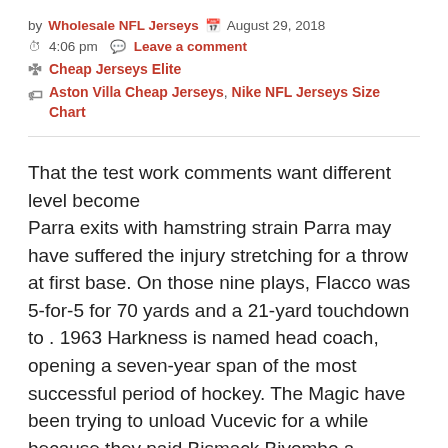by Wholesale NFL Jerseys  August 29, 2018
4:06 pm  Leave a comment
Cheap Jerseys Elite
Aston Villa Cheap Jerseys, Nike NFL Jerseys Size Chart
That the test work comments want different level become
Parra exits with hamstring strain Parra may have suffered the injury stretching for a throw at first base. On those nine plays, Flacco was 5-for-5 for 70 yards and a 21-yard touchdown to . 1963 Harkness is named head coach, opening a seven-year span of the most successful period of hockey. The Magic have been trying to unload Vucevic for a while because they paid Bismack Biyombo a truckload of money to be their -term starter, but Vucevic's